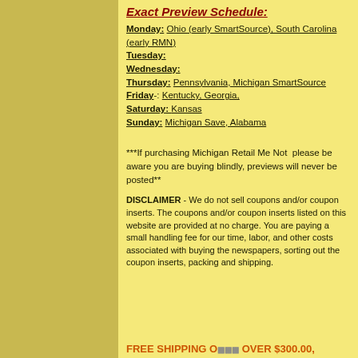Exact Preview Schedule:
Monday: Ohio (early SmartSource), South Carolina (early RMN)
Tuesday:
Wednesday:
Thursday: Pennsylvania, Michigan SmartSource
Friday: Kentucky, Georgia,
Saturday: Kansas
Sunday: Michigan Save, Alabama
***If purchasing Michigan Retail Me Not please be aware you are buying blindly, previews will never be posted**
DISCLAIMER - We do not sell coupons and/or coupon inserts. The coupons and/or coupon inserts listed on this website are provided at no charge. You are paying a small handling fee for our time, labor, and other costs associated with buying the newspapers, sorting out the coupon inserts, packing and shipping.
FREE SHIPPING ON ORDERS OVER $300.00,